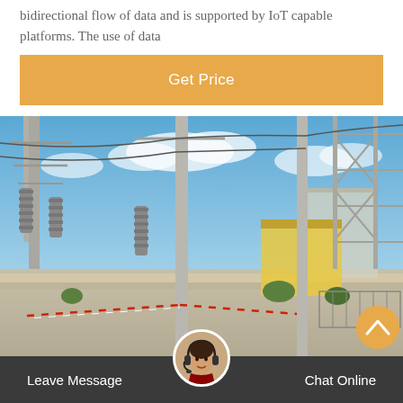bidirectional flow of data and is supported by IoT capable platforms. The use of data
[Figure (other): Orange 'Get Price' button banner]
[Figure (photo): Outdoor electrical substation with tall transmission towers, insulators, high-voltage equipment, red-and-white barrier tape on ground, blue sky with clouds]
Leave Message
Chat Online